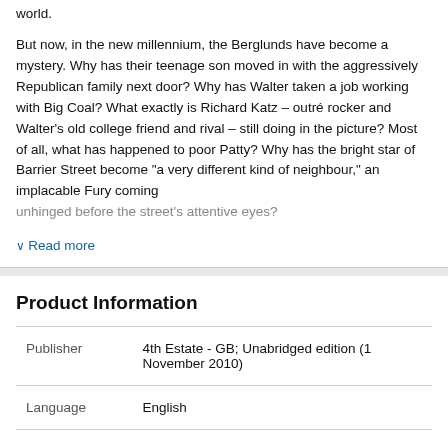world.
But now, in the new millennium, the Berglunds have become a mystery. Why has their teenage son moved in with the aggressively Republican family next door? Why has Walter taken a job working with Big Coal? What exactly is Richard Katz – outré rocker and Walter's old college friend and rival – still doing in the picture? Most of all, what has happened to poor Patty? Why has the bright star of Barrier Street become "a very different kind of neighbour," an implacable Fury coming unhinged before the street's attentive eyes?
∨ Read more
Product Information
|  |  |
| --- | --- |
| Publisher | 4th Estate - GB; Unabridged edition (1 November 2010) |
| Language | English |